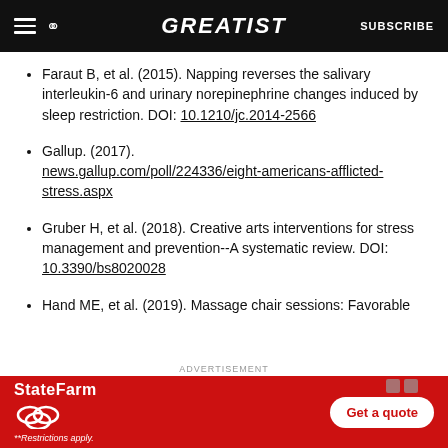GREATIST
Faraut B, et al. (2015). Napping reverses the salivary interleukin-6 and urinary norepinephrine changes induced by sleep restriction. DOI: 10.1210/jc.2014-2566
Gallup. (2017). news.gallup.com/poll/224336/eight-americans-afflicted-stress.aspx
Gruber H, et al. (2018). Creative arts interventions for stress management and prevention--A systematic review. DOI: 10.3390/bs8020028
Hand ME, et al. (2019). Massage chair sessions: Favorable
[Figure (infographic): State Farm advertisement banner with red background, State Farm logo and text, 'Get a quote' button, and restriction note. ADVERTISEMENT label above.]